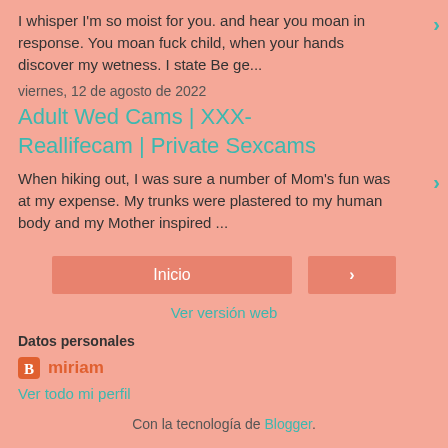I whisper I'm so moist for you. and hear you moan in response. You moan fuck child, when your hands discover my wetness. I state Be ge...
viernes, 12 de agosto de 2022
Adult Wed Cams | XXX-Reallifecam | Private Sexcams
When hiking out, I was sure a number of Mom's fun was at my expense. My trunks were plastered to my human body and my Mother inspired ...
Inicio
Ver versión web
Datos personales
miriam
Ver todo mi perfil
Con la tecnología de Blogger.